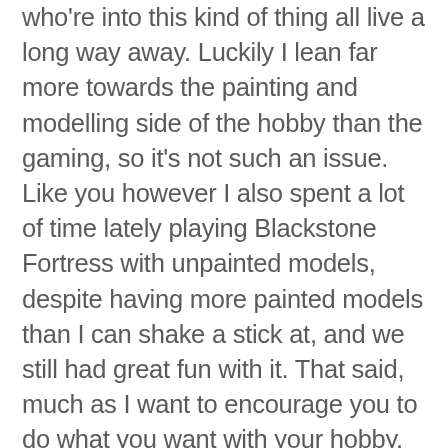who're into this kind of thing all live a long way away. Luckily I lean far more towards the painting and modelling side of the hobby than the gaming, so it's not such an issue. Like you however I also spent a lot of time lately playing Blackstone Fortress with unpainted models, despite having more painted models than I can shake a stick at, and we still had great fun with it. That said, much as I want to encourage you to do what you want with your hobby, and to make sure that what you're getting out of it is what you're looking for, I'll be disappointed if this leads to us seeing fewer models from you – after all you are a damn fine painter. You definitely need to dig out that Stormsurge from whatever unsuitable cardboard receptacle it's been jammed into and get us some photographs of the poor thing!